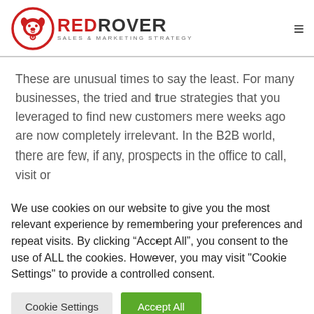[Figure (logo): RedRover Sales & Marketing Strategy logo with red circle containing a dog face icon, and the text RED in red and ROVER in dark gray, with SALES & MARKETING STRATEGY below]
These are unusual times to say the least. For many businesses, the tried and true strategies that you leveraged to find new customers mere weeks ago are now completely irrelevant. In the B2B world, there are few, if any, prospects in the office to call, visit or
We use cookies on our website to give you the most relevant experience by remembering your preferences and repeat visits. By clicking “Accept All”, you consent to the use of ALL the cookies. However, you may visit "Cookie Settings" to provide a controlled consent.